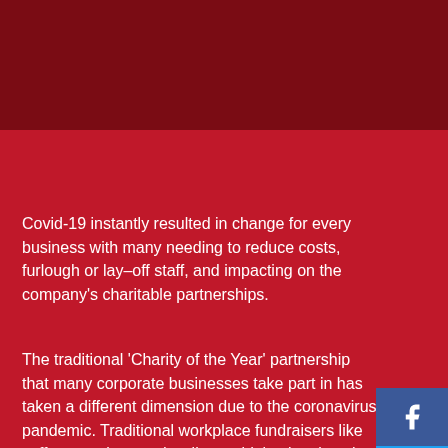Covid-19 instantly resulted in change for every business with many needing to reduce costs, furlough or lay–off staff, and impacting on the company's charitable partnerships.
The traditional 'Charity of the Year' partnership that many corporate businesses take part in has taken a different dimension due to the coronavirus pandemic. Traditional workplace fundraisers like coffee mornings and walks couldn't take place but Air Ambulance NI explains how they have worked with many of their partners to adapt and extend
[Figure (infographic): Social media icons panel on right side: Facebook (blue), Twitter (light blue), LinkedIn (blue), Instagram (gradient)]